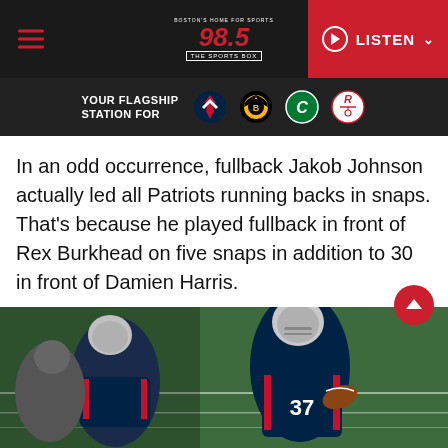98.5 The Sports Box - Boston's Home for Sports — YOUR FLAGSHIP STATION FOR [Patriots, Bruins, Celtics, Revolution logos] — LISTEN
In an odd occurrence, fullback Jakob Johnson actually led all Patriots running backs in snaps. That's because he played fullback in front of Rex Burkhead on five snaps in addition to 30 in front of Damien Harris.
[Figure (photo): New England Patriots player wearing jersey number 37 (Damien Harris) running with football during a game, with a teammate blocking in the foreground. Players wearing dark navy Patriots uniforms on a green field.]